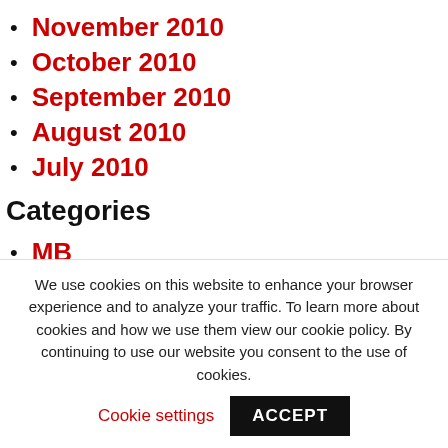November 2010
October 2010
September 2010
August 2010
July 2010
Categories
MB
MC
MCAH
MP
PMC
We use cookies on this website to enhance your browser experience and to analyze your traffic. To learn more about cookies and how we use them view our cookie policy. By continuing to use our website you consent to the use of cookies.
Cookie settings
ACCEPT